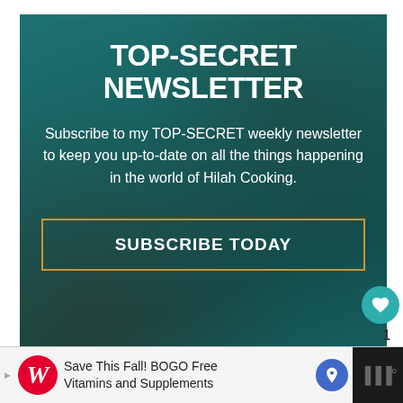[Figure (infographic): Dark teal newsletter signup banner with title TOP-SECRET NEWSLETTER and subscribe button]
TOP-SECRET NEWSLETTER
Subscribe to my TOP-SECRET weekly newsletter to keep you up-to-date on all the things happening in the world of Hilah Cooking.
SUBSCRIBE TODAY
1
WHAT'S NEXT → Homemade McDonald's...
IF YOU LIKE THE VIDEOS,
Save This Fall! BOGO Free Vitamins and Supplements